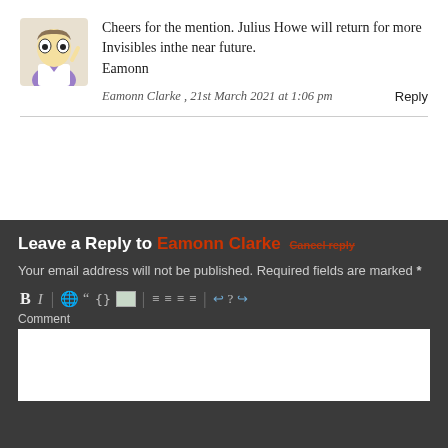[Figure (illustration): Cartoon avatar of a character resembling a Simpson-style scientist figure in a lab coat]
Cheers for the mention. Julius Howe will return for more Invisibles inthe near future.
Eamonn
Eamonn Clarke , 21st March 2021 at 1:06 pm     Reply
Leave a Reply to Eamonn Clarke Cancel reply
Your email address will not be published. Required fields are marked *
[Figure (screenshot): Comment editor toolbar with Bold, Italic, link, blockquote, code, image, list and alignment buttons]
Comment